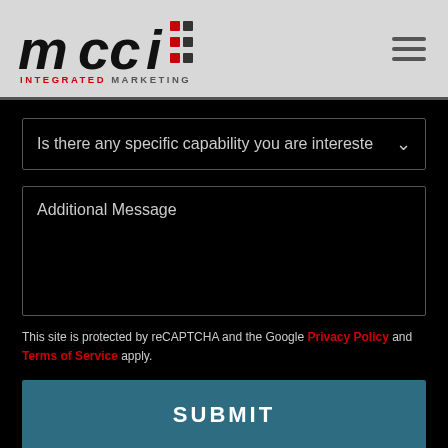[Figure (logo): MCCI Integrated Marketing logo with bold italic text and red/dark dot pattern]
Is there any specific capability you are interested
Additional Message
This site is protected by reCAPTCHA and the Google Privacy Policy and Terms of Service apply.
SUBMIT